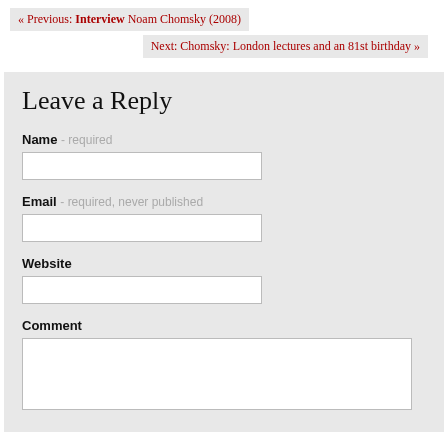« Previous: Interview Noam Chomsky (2008)
Next: Chomsky: London lectures and an 81st birthday »
Leave a Reply
Name - required
Email - required, never published
Website
Comment